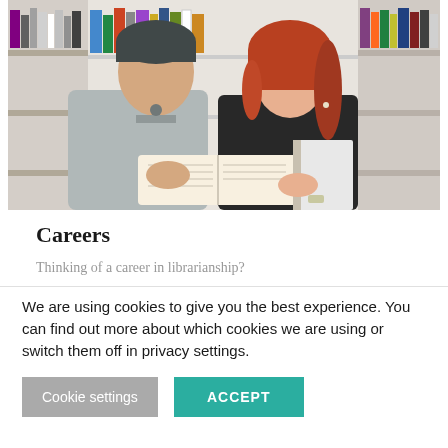[Figure (photo): Two students (a young man in a grey top and a young woman with red hair in a black lace top) standing in a library aisle, looking at an open book together. Bookshelves with colourful spines are visible in the background.]
Careers
Thinking of a career in librarianship?
We are using cookies to give you the best experience. You can find out more about which cookies we are using or switch them off in privacy settings.